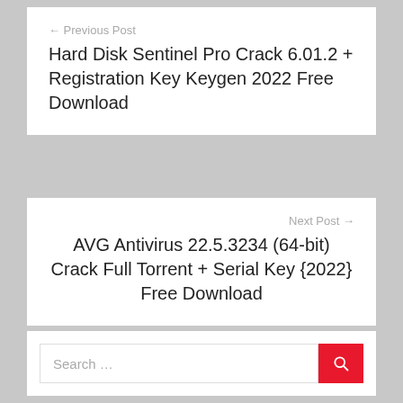← Previous Post
Hard Disk Sentinel Pro Crack 6.01.2 + Registration Key Keygen 2022 Free Download
Next Post →
AVG Antivirus 22.5.3234 (64-bit) Crack Full Torrent + Serial Key {2022} Free Download
Search …